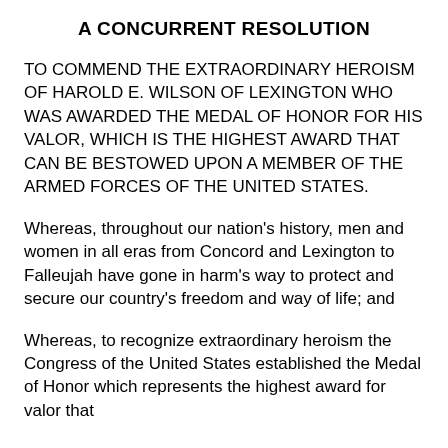A CONCURRENT RESOLUTION
TO COMMEND THE EXTRAORDINARY HEROISM OF HAROLD E. WILSON OF LEXINGTON WHO WAS AWARDED THE MEDAL OF HONOR FOR HIS VALOR, WHICH IS THE HIGHEST AWARD THAT CAN BE BESTOWED UPON A MEMBER OF THE ARMED FORCES OF THE UNITED STATES.
Whereas, throughout our nation's history, men and women in all eras from Concord and Lexington to Falleujah have gone in harm's way to protect and secure our country's freedom and way of life; and
Whereas, to recognize extraordinary heroism the Congress of the United States established the Medal of Honor which represents the highest award for valor that